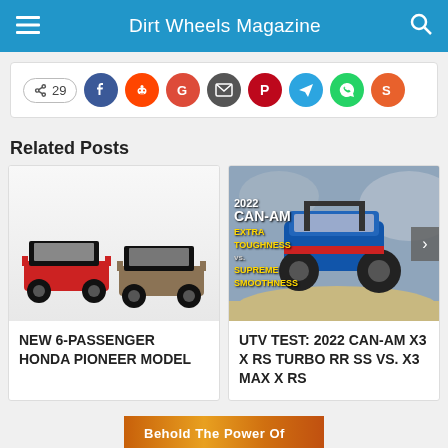Dirt Wheels Magazine
[Figure (screenshot): Social share bar with share count 29 and icons for Facebook, Reddit, Google, Email, Pinterest, Telegram, WhatsApp, StumbleUpon]
Related Posts
[Figure (photo): Two Honda Pioneer UTVs side by side — red and tan/camouflage models]
NEW 6-PASSENGER HONDA PIONEER MODEL
[Figure (photo): Can-Am X3 UTV airborne on rocky terrain with magazine overlay text '2022 CAN-AM' and vs text in yellow]
UTV TEST: 2022 CAN-AM X3 X RS TURBO RR SS VS. X3 MAX X RS
[Figure (photo): Bottom banner advertisement with orange/brown desert tones]